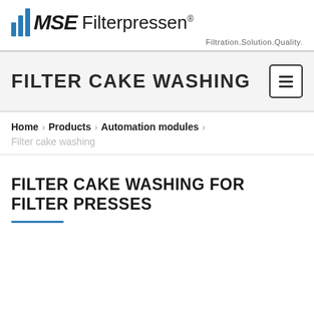MSE Filterpressen — Filtration.Solution.Quality.
FILTER CAKE WASHING
Home > Products > Automation modules > Filter cake washing
FILTER CAKE WASHING FOR FILTER PRESSES